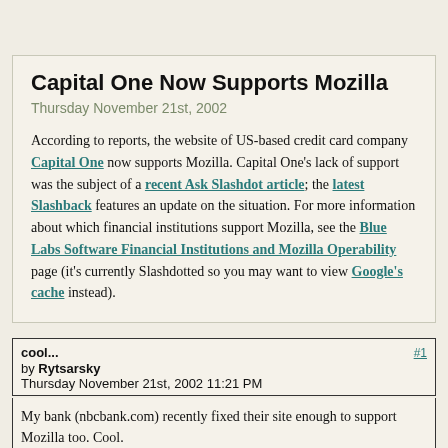Capital One Now Supports Mozilla
Thursday November 21st, 2002
According to reports, the website of US-based credit card company Capital One now supports Mozilla. Capital One's lack of support was the subject of a recent Ask Slashdot article; the latest Slashback features an update on the situation. For more information about which financial institutions support Mozilla, see the Blue Labs Software Financial Institutions and Mozilla Operability page (it's currently Slashdotted so you may want to view Google's cache instead).
cool... #1
by Rytsarsky
Thursday November 21st, 2002 11:21 PM
My bank (nbcbank.com) recently fixed their site enough to support Mozilla too. Cool.